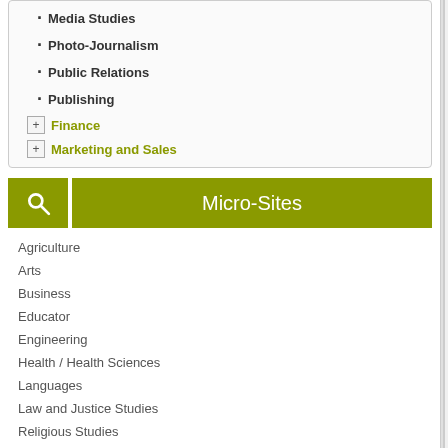Media Studies
Photo-Journalism
Public Relations
Publishing
Finance
Marketing and Sales
[Figure (screenshot): Search button with magnifying glass icon and Micro-Sites label button, both olive/yellow-green colored]
Agriculture
Arts
Business
Educator
Engineering
Health / Health Sciences
Languages
Law and Justice Studies
Religious Studies
Sciences / Mathematics
Skilled Trades
Technology
Travel and Tourism
University of Ottawa
550 Cumberland St., Ottawa, Ontario K1N 6N5
Programs Matched: Bachelor of Commu...
Wilfrid Laurier University
75 University Ave W, Waterloo, Ontario N2L 3C...
Programs Matched: Bachelor of Journal...
Cambrian College
1400 Barrydowne Rd, Sudbury, Ontario P3A 3...
Programs Matched: Journalism
Confederation College - Thunder Bay
[Figure (logo): Confederation College logo with red bird/phoenix symbol and text]
P.O. Box 398, ... Programs M...
Loyalist College